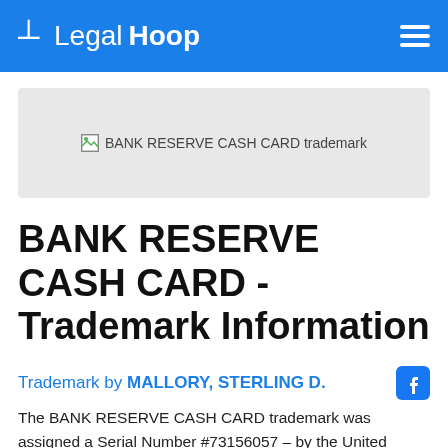LegalHoop
[Figure (illustration): BANK RESERVE CASH CARD trademark image placeholder (broken image icon with alt text)]
BANK RESERVE CASH CARD - Trademark Information
Trademark by MALLORY, STERLING D.
The BANK RESERVE CASH CARD trademark was assigned a Serial Number #73156057 – by the United States Patent and Trademark Office (USPTO). Trademark